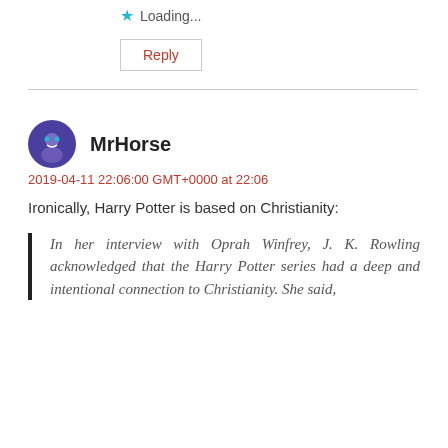Loading...
Reply
MrHorse
2019-04-11 22:06:00 GMT+0000 at 22:06
Ironically, Harry Potter is based on Christianity:
In her interview with Oprah Winfrey, J. K. Rowling acknowledged that the Harry Potter series had a deep and intentional connection to Christianity. She said,